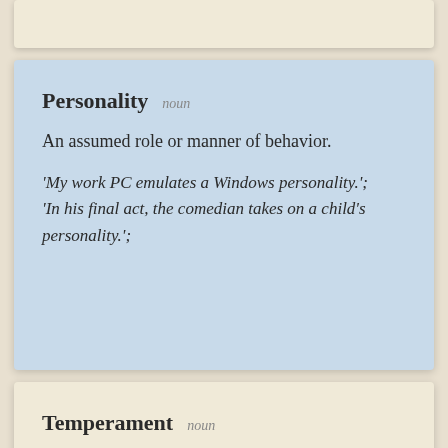Personality  noun
An assumed role or manner of behavior.
'My work PC emulates a Windows personality.'; 'In his final act, the comedian takes on a child's personality.';
Temperament  noun
A person's usual manner of thinking, behaving or reacting.